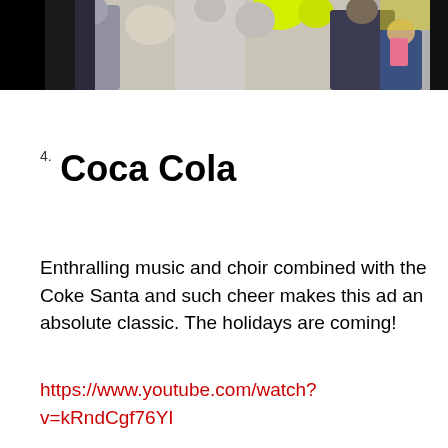[Figure (photo): A photograph showing people at what appears to be a festive or holiday event, with bright yellow/green colors visible and a child in the foreground.]
4. Coca Cola
Enthralling music and choir combined with the Coke Santa and such cheer makes this ad an absolute classic. The holidays are coming!
https://www.youtube.com/watch?v=kRndCgf76YI